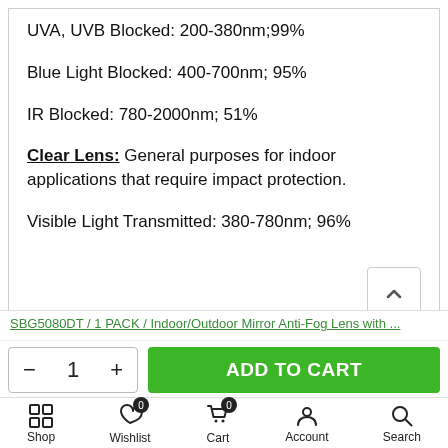UVA, UVB Blocked: 200-380nm;99%
Blue Light Blocked: 400-700nm; 95%
IR Blocked: 780-2000nm; 51%
Clear Lens: General purposes for indoor applications that require impact protection.
Visible Light Transmitted: 380-780nm; 96%
SBG5080DT / 1 PACK / Indoor/Outdoor Mirror Anti-Fog Lens with ...
- 1 + ADD TO CART
Shop   Wishlist 0   Cart 0   Account   Search